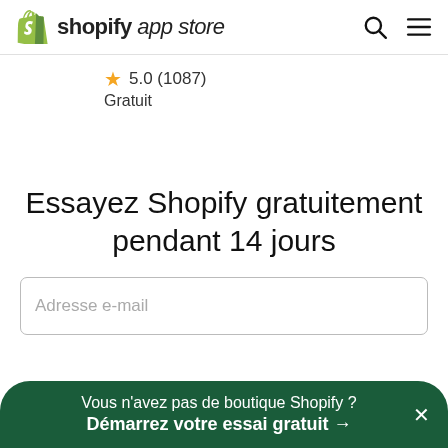shopify app store
★ 5.0 (1087)
Gratuit
Essayez Shopify gratuitement pendant 14 jours
Adresse e-mail
Vous n'avez pas de boutique Shopify ?
Démarrez votre essai gratuit →